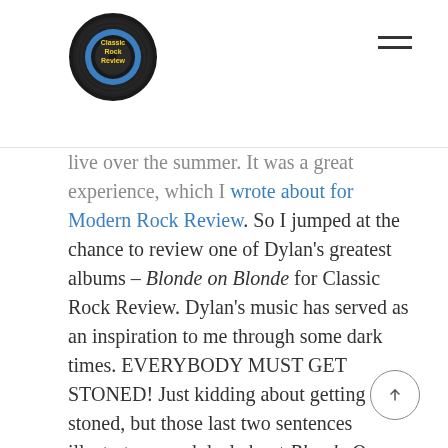Classic Rock Review [logo] [navigation menu]
live over the summer. It was a great experience, which I wrote about for Modern Rock Review. So I jumped at the chance to review one of Dylan's greatest albums – Blonde on Blonde for Classic Rock Review. Dylan's music has served as an inspiration to me through some dark times. EVERYBODY MUST GET STONED! Just kidding about getting stoned, but those last two sentences illustrate a good deal about Blonde On Blonde. It is a seminal album in Dylan's sixties career that somehow balances the silly, philosophical, and melancholy. I dare say it does this a great deal better than I just did. This said, this album is not